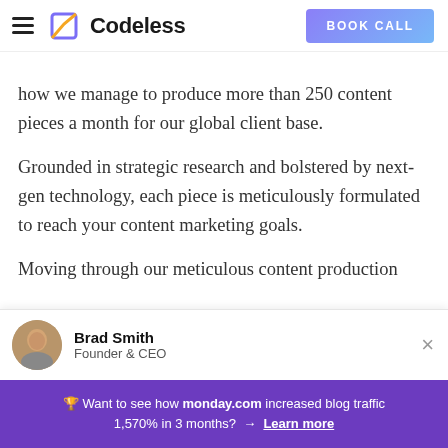Codeless | BOOK CALL
how we manage to produce more than 250 content pieces a month for our global client base.
Grounded in strategic research and bolstered by next-gen technology, each piece is meticulously formulated to reach your content marketing goals.
Moving through our meticulous content production
Brad Smith
Founder & CEO
🏆 Want to see how monday.com increased blog traffic 1,570% in 3 months?  →  Learn more